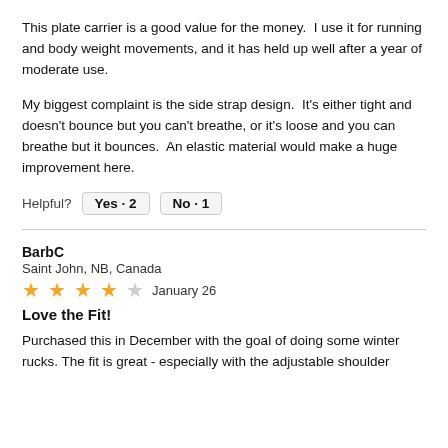This plate carrier is a good value for the money.  I use it for running and body weight movements, and it has held up well after a year of moderate use.
My biggest complaint is the side strap design.  It's either tight and doesn't bounce but you can't breathe, or it's loose and you can breathe but it bounces.  An elastic material would make a huge improvement here.
Helpful?  Yes · 2   No · 1
BarbC
Saint John, NB, Canada
★★★★☆  January 26
Love the Fit!
Purchased this in December with the goal of doing some winter rucks. The fit is great - especially with the adjustable shoulder straps and the adjustable...